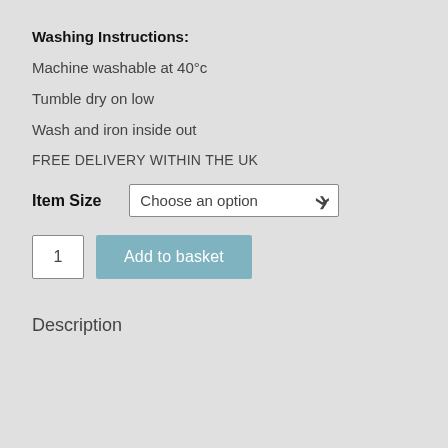Washing Instructions:
Machine washable at 40°c
Tumble dry on low
Wash and iron inside out
FREE DELIVERY WITHIN THE UK
Item Size   Choose an option
1   Add to basket
Description